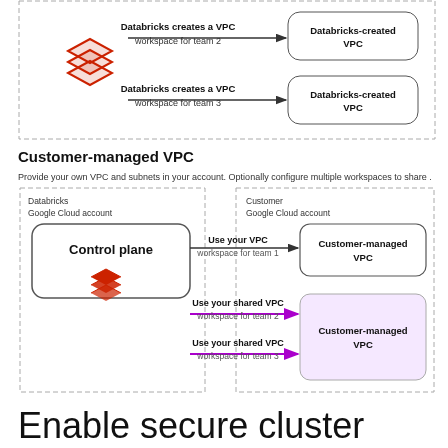[Figure (flowchart): Top partial diagram showing Databricks-created VPC workspaces for team 2 and team 3 with arrows pointing to Databricks-created VPC boxes.]
Customer-managed VPC
Provide your own VPC and subnets in your account. Optionally configure multiple workspaces to share .
[Figure (flowchart): Architecture diagram showing Databricks Google Cloud account with Control plane connected via arrows to Customer Google Cloud account with Customer-managed VPCs. Team 1 uses black arrow (Use your VPC), Teams 2 and 3 use purple arrows (Use your shared VPC).]
Enable secure cluster